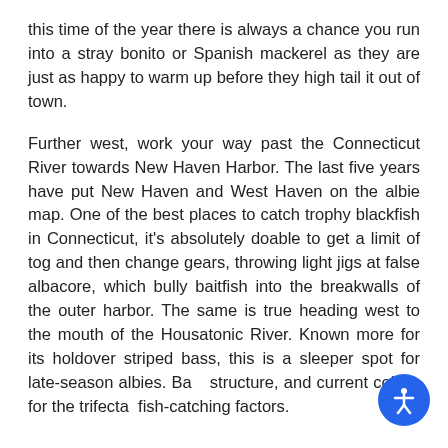this time of the year there is always a chance you run into a stray bonito or Spanish mackerel as they are just as happy to warm up before they high tail it out of town.
Further west, work your way past the Connecticut River towards New Haven Harbor. The last five years have put New Haven and West Haven on the albie map. One of the best places to catch trophy blackfish in Connecticut, it's absolutely doable to get a limit of tog and then change gears, throwing light jigs at false albacore, which bully baitfish into the breakwalls of the outer harbor. The same is true heading west to the mouth of the Housatonic River. Known more for its holdover striped bass, this is a sleeper spot for late-season albies. Ba… structure, and current collide for the trifecta… fish-catching factors.